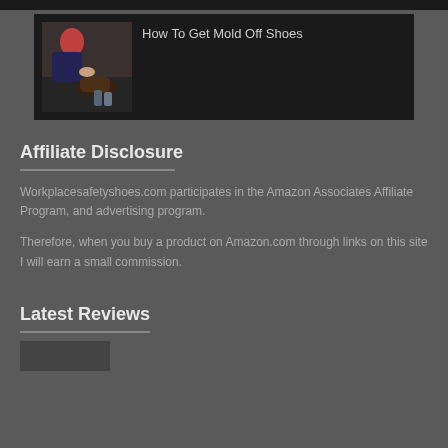[Figure (photo): Thumbnail image of someone cleaning shoes, used as card image for 'How To Get Mold Off Shoes']
How To Get Mold Off Shoes
Affiliate Disclosure
Workplacesafetyshoes.com participates in the Amazon Associates Affiliate Program, and advertising program.
Therefore, when you buy a product on Amazon.com through links on this site I will earn a small commission.
Latest Reviews